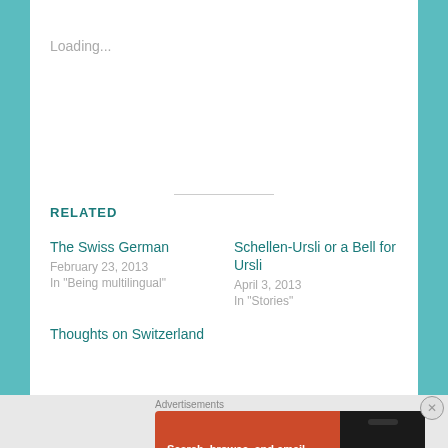Loading...
RELATED
The Swiss German
February 23, 2013
In "Being multilingual"
Schellen-Ursli or a Bell for Ursli
April 3, 2013
In "Stories"
Thoughts on Switzerland
Advertisements
[Figure (screenshot): DuckDuckGo advertisement: 'Search, browse, and email with more privacy. All in One Free App' with DuckDuckGo logo on phone mockup]